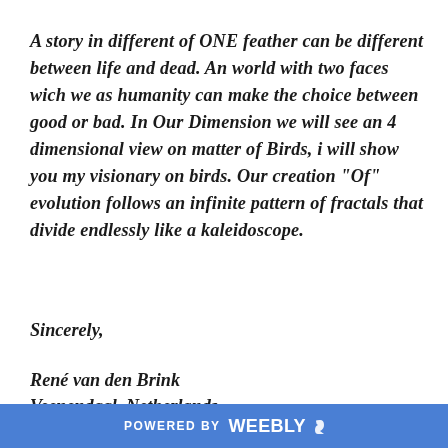A story in different of ONE feather can be different between life and dead. An world with two faces wich we as humanity can make the choice between good or bad. In Our Dimension we will see an 4 dimensional view on matter of Birds, i will show you my visionary on birds. Our creation "Of" evolution follows an infinite pattern of fractals that divide endlessly like a kaleidoscope.
Sincerely,
René van den Brink
Veenendaal, Netherlands
POWERED BY weebly